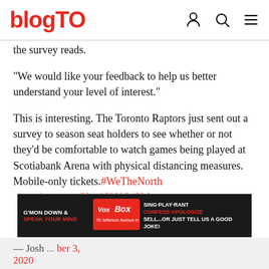blogTO
the survey reads.
"We would like your feedback to help us better understand your level of interest."
This is interesting. The Toronto Raptors just sent out a survey to season seat holders to see whether or not they'd be comfortable to watch games being played at Scotiabank Arena with physical distancing measures. Mobile-only tickets. #WeTheNorth pic.twitter.com/NmAX60S13M
[Figure (advertisement): VoxBox advertisement — G'MON DOWN & SPEAK YOUR MIND | VoxBox | SING·PLAY·RANT CONFESS·APOLOGIZE SELL...or just tell us a good joke! | 70 Jefferson Avenue in Liberty Village]
— Josh ... ber 3, 2020